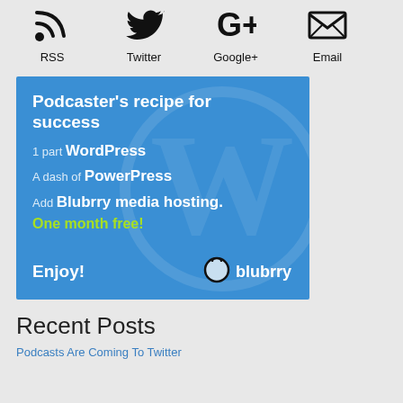[Figure (infographic): Social media icons: RSS, Twitter, Google+, Email with labels below each icon]
[Figure (illustration): Blubrry advertisement banner on blue background with WordPress watermark. Text: Podcaster's recipe for success. 1 part WordPress. A dash of PowerPress. Add Blubrry media hosting. One month free! Enjoy! with Blubrry logo.]
Recent Posts
Podcasts Are Coming To Twitter